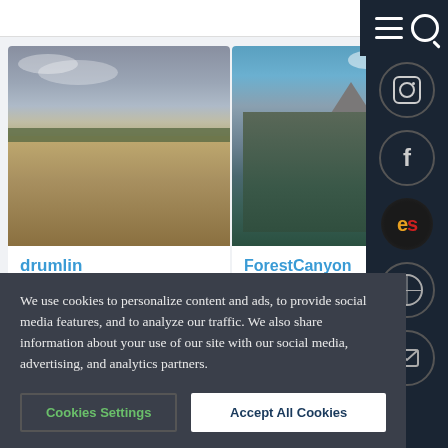[Figure (photo): Partial view of top navigation strip with link buttons]
[Figure (photo): Photo of a drumlin - grassy field under cloudy sky near Calgary]
drumlin
Calgary, drumlin
glaciation
[Figure (photo): Photo of ForestCanyon LongsPeak - Glacially U-shaped valley and Longs Peak, Rocky Mountain National Park]
ForestCanyon LongsPeak
Glacially U-shaped valley and Longs Peak, Rocky Mountain National Park.
We use cookies to personalize content and ads, to provide social media features, and to analyze our traffic. We also share information about your use of our site with our social media, advertising, and analytics partners.
Cookies Settings
Accept All Cookies